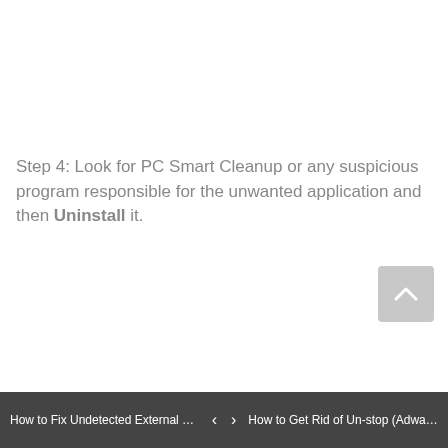Step 4: Look for PC Smart Cleanup or any suspicious program responsible for the unwanted application and then Uninstall it.
How to Fix Undetected External H...   <   >   How to Get Rid of Un-stop (Adwar...